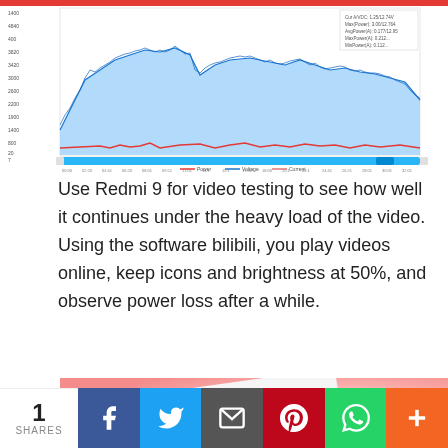[Figure (continuous-plot): Time-series power/voltage/current chart with blue shaded area (voltage), red line (power), and legend. X-axis shows time values, Y-axis shows values. Blue bar scrollbar at bottom. Legend labels: Power, Voltage, Current.]
Use Redmi 9 for video testing to see how well it continues under the heavy load of the video. Using the software bilibili, you play videos online, keep icons and brightness at 50%, and observe power loss after a while.
[Figure (photo): Photo of a white charger/adapter label showing text: 电家适配器型号:MDY-09-EK, 执行标准:GB17625.1-2012 GB4943.1-2011 GB/T01, 输入:100-240VAC,50/60Hz,0.35A, 2A82008K804042J | 江西 ... on a pink/coral background.]
1
SHARES